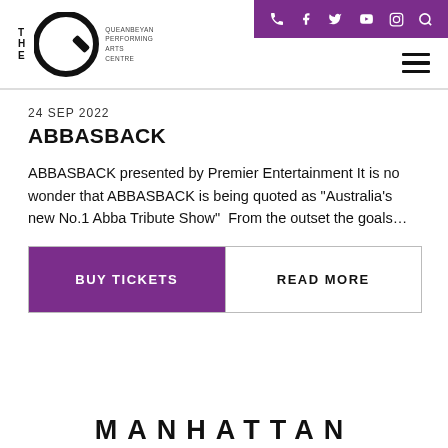THE Q — Queanbeyan Performing Arts Centre
24 SEP 2022
ABBASBACK
ABBASBACK presented by Premier Entertainment It is no wonder that ABBASBACK is being quoted as "Australia's new No.1 Abba Tribute Show"  From the outset the goals…
BUY TICKETS
READ MORE
MANHATTAN